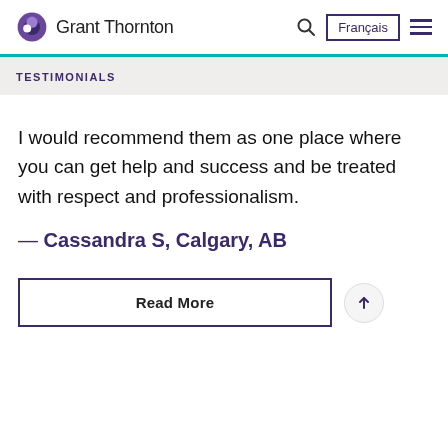Grant Thornton — Français (navigation header)
TESTIMONIALS
I would recommend them as one place where you can get help and success and be treated with respect and professionalism.
— Cassandra S, Calgary, AB
Read More